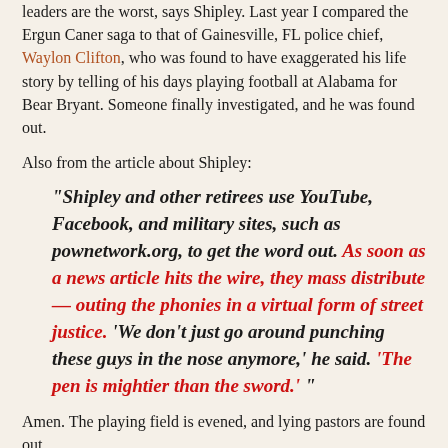leaders are the worst, says Shipley. Last year I compared the Ergun Caner saga to that of Gainesville, FL police chief, Waylon Clifton, who was found to have exaggerated his life story by telling of his days playing football at Alabama for Bear Bryant. Someone finally investigated, and he was found out.
Also from the article about Shipley:
"Shipley and other retirees use YouTube, Facebook, and military sites, such as pownetwork.org, to get the word out. As soon as a news article hits the wire, they mass distribute — outing the phonies in a virtual form of street justice. 'We don’t just go around punching these guys in the nose anymore,' he said. 'The pen is mightier than the sword.' "
Amen. The playing field is evened, and lying pastors are found out.